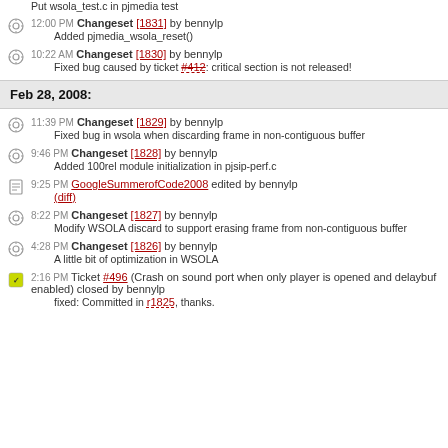Put wsola_test.c in pjmedia test
12:00 PM Changeset [1831] by bennylp — Added pjmedia_wsola_reset()
10:22 AM Changeset [1830] by bennylp — Fixed bug caused by ticket #412: critical section is not released!
Feb 28, 2008:
11:39 PM Changeset [1829] by bennylp — Fixed bug in wsola when discarding frame in non-contiguous buffer
9:46 PM Changeset [1828] by bennylp — Added 100rel module initialization in pjsip-perf.c
9:25 PM GoogleSummerofCode2008 edited by bennylp (diff)
8:22 PM Changeset [1827] by bennylp — Modify WSOLA discard to support erasing frame from non-contiguous buffer
4:28 PM Changeset [1826] by bennylp — A little bit of optimization in WSOLA
2:16 PM Ticket #496 (Crash on sound port when only player is opened and delaybuf enabled) closed by bennylp — fixed: Committed in r1825, thanks.